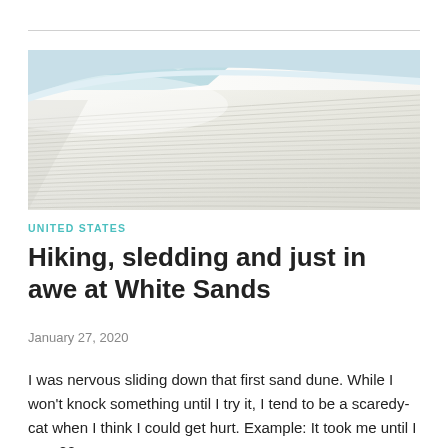[Figure (photo): A wide-angle photograph of white sand dunes with rippled texture, blue sky visible at the top left corner. The sand appears bright white and fills most of the frame with converging ridgelines.]
UNITED STATES
Hiking, sledding and just in awe at White Sands
January 27, 2020
I was nervous sliding down that first sand dune. While I won't knock something until I try it, I tend to be a scaredy-cat when I think I could get hurt. Example: It took me until I was 22